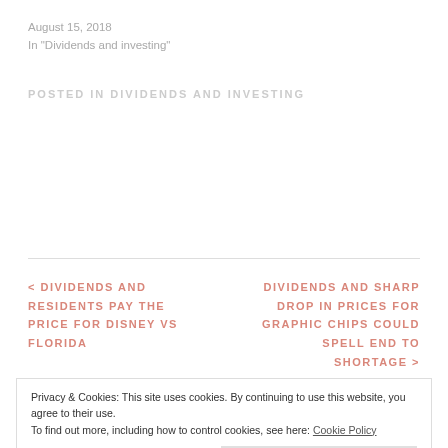August 15, 2018
In "Dividends and investing"
POSTED IN DIVIDENDS AND INVESTING
< DIVIDENDS AND RESIDENTS PAY THE PRICE FOR DISNEY VS FLORIDA
DIVIDENDS AND SHARP DROP IN PRICES FOR GRAPHIC CHIPS COULD SPELL END TO SHORTAGE >
Privacy & Cookies: This site uses cookies. By continuing to use this website, you agree to their use.
To find out more, including how to control cookies, see here: Cookie Policy
Close and accept